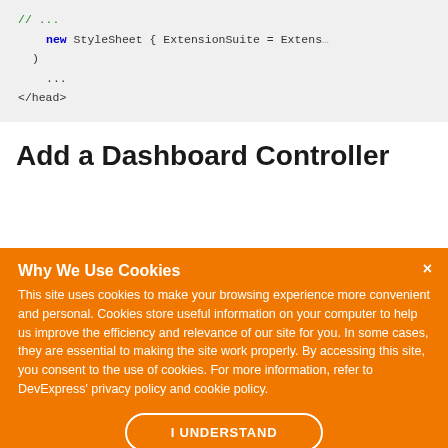[Figure (screenshot): Code block showing C# code snippet with '// ...' comment, 'new StyleSheet { ExtensionSuite = Extens' and ')' and '...' and '</head>' on a light grey background]
Add a Dashboard Controller
Why We Use Cookies
This site uses cookies to make your browsing experience more convenient and personal. Cookies store useful information on your computer to help us improve the efficiency and relevance of our site for you. In some cases, they are essential to making the site work properly. By accessing this site, you consent to the use of cookies. For more information, refer to DevExpress' privacy policy and cookie policy.
I UNDERSTAND
[Figure (screenshot): Code snippet showing 'public class DefaultDashboardController : Da' on light grey background]